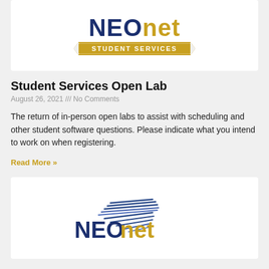[Figure (logo): NEOnet Student Services logo with gold banner]
Student Services Open Lab
August 26, 2021 /// No Comments
The return of in-person open labs to assist with scheduling and other student software questions. Please indicate what you intend to work on when registering.
Read More »
[Figure (logo): NEOnet logo with stylized speed-lines bird/arrow graphic above text]